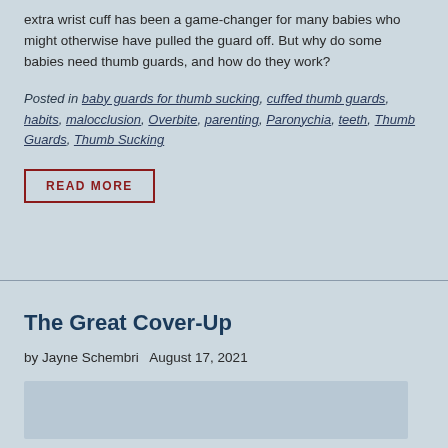extra wrist cuff has been a game-changer for many babies who might otherwise have pulled the guard off. But why do some babies need thumb guards, and how do they work?
Posted in baby guards for thumb sucking, cuffed thumb guards, habits, malocclusion, Overbite, parenting, Paronychia, teeth, Thumb Guards, Thumb Sucking
READ MORE
The Great Cover-Up
by Jayne Schembri   August 17, 2021
[Figure (other): Article thumbnail image placeholder]